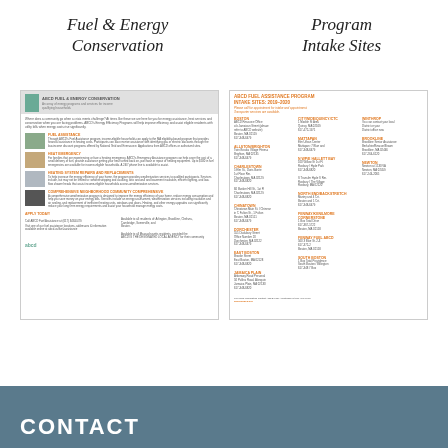Fuel & Energy Conservation
Program Intake Sites
[Figure (illustration): Thumbnail of ABCD Fuel & Energy Conservation flyer with program sections and photos]
[Figure (illustration): Thumbnail of ABCD Fuel Assistance Program Intake Sites 2019-2020 flyer with location listings]
CONTACT